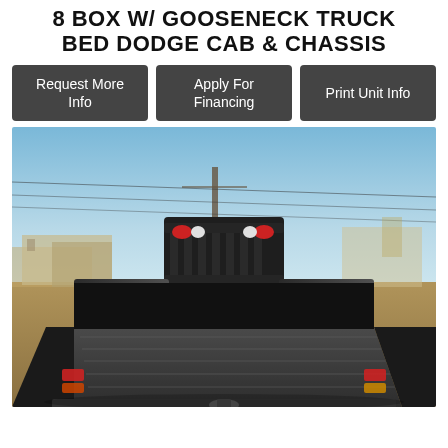8 BOX W/ GOOSENECK TRUCK BED DODGE CAB & CHASSIS
Request More Info
Apply For Financing
Print Unit Info
[Figure (photo): Rear view of a black aluminum flatbed/gooseneck truck bed on a Dodge cab & chassis, photographed outdoors in a yard with power lines and buildings visible in the background under a clear blue sky.]